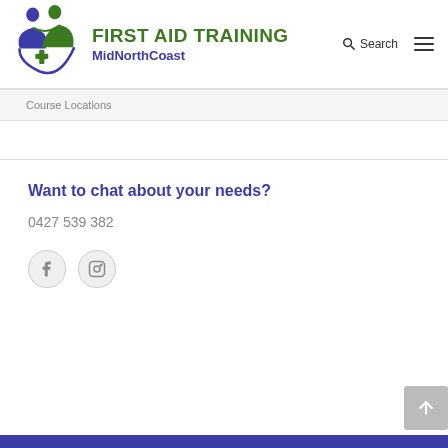[Figure (logo): First Aid Training MidNorthCoast logo with two human figures and a green cross in blue/green colors]
FIRST AID TRAINING MidNorthCoast
Search
Course Locations
Want to chat about your needs?
0427 539 382
[Figure (illustration): Facebook icon circle]
[Figure (illustration): Instagram icon circle]